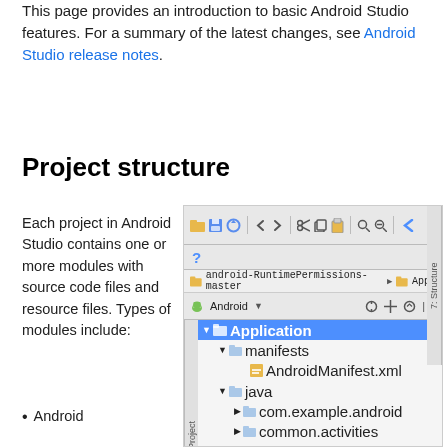This page provides an introduction to basic Android Studio features. For a summary of the latest changes, see Android Studio release notes.
Project structure
Each project in Android Studio contains one or more modules with source code files and resource files. Types of modules include:
[Figure (screenshot): Android Studio IDE showing the Project panel with android-RuntimePermissions-master project open, displaying the Application module tree with manifests, AndroidManifest.xml, java (com.example.android, common.activities), and res (drawable, layout) folders.]
Android